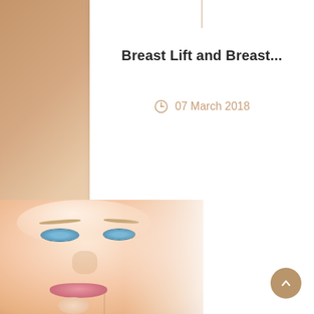[Figure (photo): Decorative brown/tan strip on the left side of the card, partial view of a decorative element]
Breast Lift and Breast...
07 March 2018
[Figure (photo): Close-up photo of a young woman with blue eyes, light skin, pink lips, smiling slightly, touching her chin with her finger]